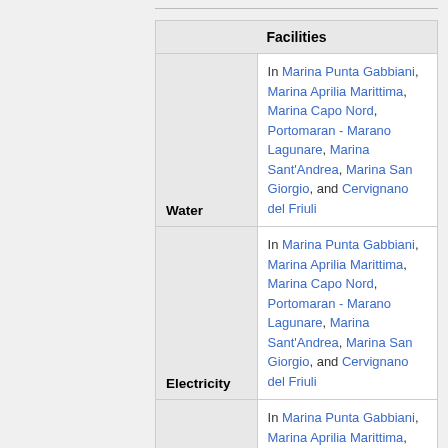| Facilities |
| --- |
| Water | In Marina Punta Gabbiani, Marina Aprilia Marittima, Marina Capo Nord, Portomaran - Marano Lagunare, Marina Sant'Andrea, Marina San Giorgio, and Cervignano del Friuli |
| Electricity | In Marina Punta Gabbiani, Marina Aprilia Marittima, Marina Capo Nord, Portomaran - Marano Lagunare, Marina Sant'Andrea, Marina San Giorgio, and Cervignano del Friuli |
| Toilets | In Marina Punta Gabbiani, Marina Aprilia Marittima, Marina Capo Nord, Portomaran - Marano Lagunare, Marina... |